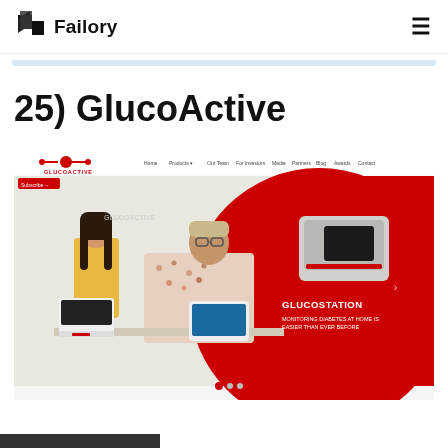Failory
25) GlucoActive
[Figure (screenshot): Screenshot of the GlucoActive website showing the company logo, navigation bar with Home, Products, Our Team, For Investors, Media, Partners, Blog, Awards, Contact links, and a hero image of two people at a desk with GlucoActive medical devices. Right side of hero shows a red background with product image labeled GLUCOSTATION with text MONITORING DIABETES AT HOME IS EASIER THAN EVER BEFORE.]